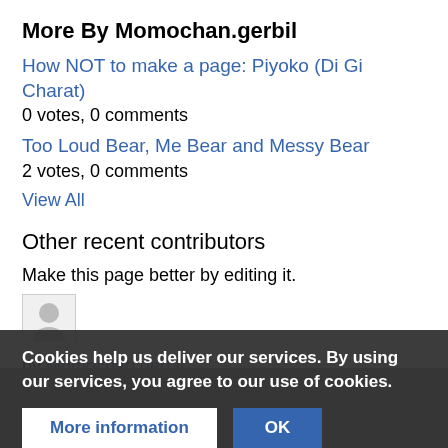More By Momochan.gerbil
How NOT to make a page: Piyoko (Di Gi Charat)
0 votes, 0 comments
Too Loud Bear, Me Bear and Messy Bear
2 votes, 0 comments
View All
Other recent contributors
Make this page better by editing it.
[Figure (illustration): User avatar placeholder — gray silhouette of a person on light gray background]
by Momochan.gerbil
created 02:56, 23 June 2022 , last edited 20:53, 23 August 2022
Cookies help us deliver our services. By using our services, you agree to our use of cookies.
More information
OK